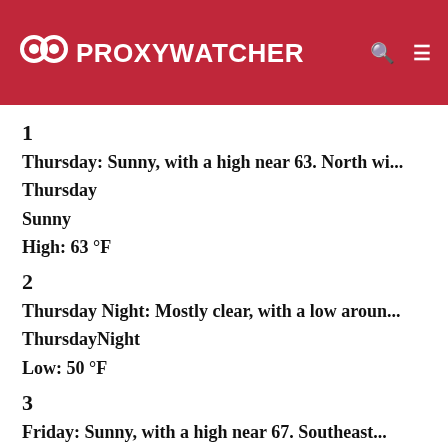PROXYWATCHER
1
Thursday: Sunny, with a high near 63. North wi...
Thursday
Sunny
High: 63 °F
2
Thursday Night: Mostly clear, with a low aroun...
ThursdayNight
Low: 50 °F
3
Friday: Sunny, with a high near 67. Southeast...